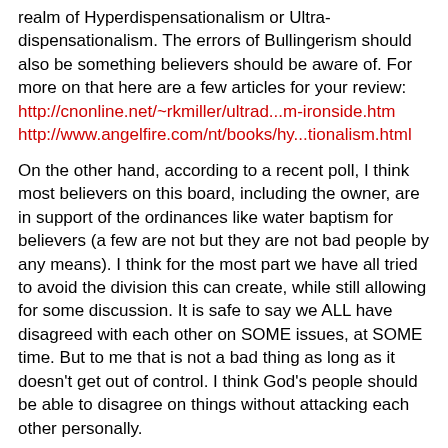realm of Hyperdispensationalism or Ultra-dispensationalism. The errors of Bullingerism should also be something believers should be aware of. For more on that here are a few articles for your review:
http://cnonline.net/~rkmiller/ultrad...m-ironside.htm
http://www.angelfire.com/nt/books/hy...tionalism.html
On the other hand, according to a recent poll, I think most believers on this board, including the owner, are in support of the ordinances like water baptism for believers (a few are not but they are not bad people by any means). I think for the most part we have all tried to avoid the division this can create, while still allowing for some discussion. It is safe to say we ALL have disagreed with each other on SOME issues, at SOME time. But to me that is not a bad thing as long as it doesn't get out of control. I think God's people should be able to disagree on things without attacking each other personally.
Sometimes dispensationalism can be a divisive issue for Christians. But all of this in no way impacts our full support for the authority of the King James Bible, and even though we all may squabble from time to time on some issues, the heart of the forum is the inerrancy of the King James Bible and I can tell you that we all rally together as brothers (and